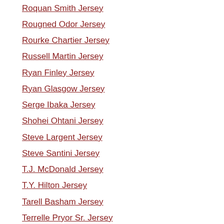Roquan Smith Jersey
Rougned Odor Jersey
Rourke Chartier Jersey
Russell Martin Jersey
Ryan Finley Jersey
Ryan Glasgow Jersey
Serge Ibaka Jersey
Shohei Ohtani Jersey
Steve Largent Jersey
Steve Santini Jersey
T.J. McDonald Jersey
T.Y. Hilton Jersey
Tarell Basham Jersey
Terrelle Pryor Sr. Jersey
Timothy Liljegren Jersey
Tom Waddle Jersey
Toni Kukoc Jersey
Torey Krug Jersey
Toronto Maple Leafs Jersey
Trai Turner Jersey
Trysten Hill Jersey